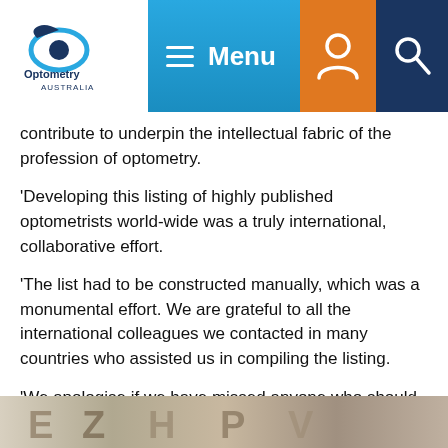Optometry Australia — Menu header with logo, menu, account, and search icons
contribute to underpin the intellectual fabric of the profession of optometry.
'Developing this listing of highly published optometrists world-wide was a truly international, collaborative effort.
'The list had to be constructed manually, which was a monumental effort. We are grateful to all the international colleagues we contacted in many countries who assisted us in compiling the listing.
'We apologise if we have missed anyone who should be listed, but there is a facility on the website to nominate missing individuals for inclusion. The website can be considered as a 'live listing" that will self-correct as nominations are received and the listing updated over time.
'That nearly one quarter of the top 200 optometrists are currently working in Australia is evidence of the robust research base in this country on a global scale.'
[Figure (photo): Bottom strip showing a partial photo of a person, cropped at the bottom of the page]